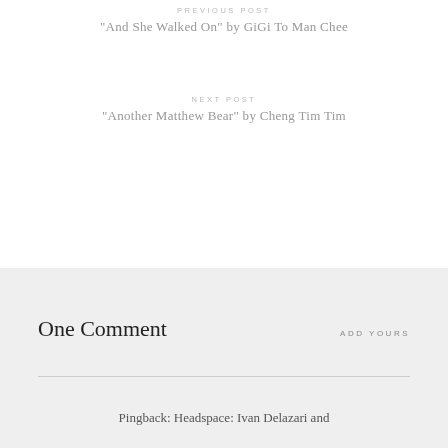PREVIOUS POST
“And She Walked On” by GiGi To Man Chee
NEXT POST
“Another Matthew Bear” by Cheng Tim Tim
One Comment
ADD YOURS
Pingback: Headspace: Ivan Delazari and